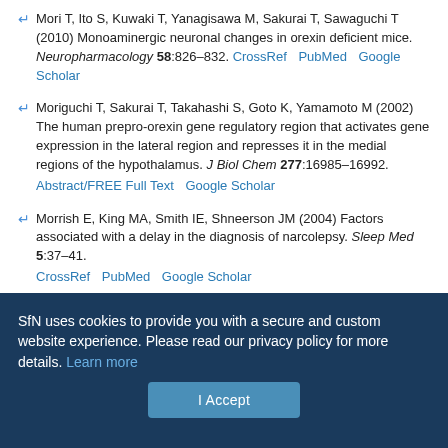Mori T, Ito S, Kuwaki T, Yanagisawa M, Sakurai T, Sawaguchi T (2010) Monoaminergic neuronal changes in orexin deficient mice. Neuropharmacology 58:826–832. CrossRef PubMed Google Scholar
Moriguchi T, Sakurai T, Takahashi S, Goto K, Yamamoto M (2002) The human prepro-orexin gene regulatory region that activates gene expression in the lateral region and represses it in the medial regions of the hypothalamus. J Biol Chem 277:16985–16992. Abstract/FREE Full Text Google Scholar
Morrish E, King MA, Smith IE, Shneerson JM (2004) Factors associated with a delay in the diagnosis of narcolepsy. Sleep Med 5:37–41. CrossRef PubMed Google Scholar
Muraki Y, Yamanaka A, Tsujino N, Kilduff TS, Goto K, Sakurai T (2004) Serotonergic regulation of the orexin/hypocretin neurons through the 5-
SfN uses cookies to provide you with a secure and custom website experience. Please read our privacy policy for more details. Learn more